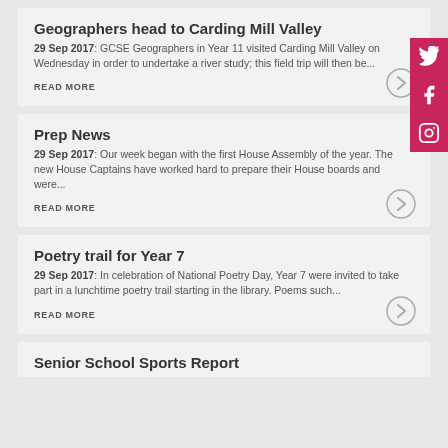Geographers head to Carding Mill Valley
29 Sep 2017: GCSE Geographers in Year 11 visited Carding Mill Valley on Wednesday in order to undertake a river study; this field trip will then be...
READ MORE
Prep News
29 Sep 2017: Our week began with the first House Assembly of the year. The new House Captains have worked hard to prepare their House boards and were...
READ MORE
Poetry trail for Year 7
29 Sep 2017: In celebration of National Poetry Day, Year 7 were invited to take part in a lunchtime poetry trail starting in the library. Poems such...
READ MORE
Senior School Sports Report